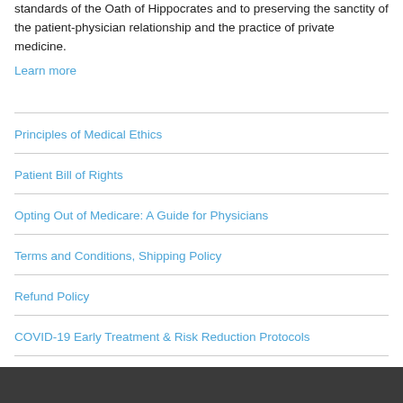standards of the Oath of Hippocrates and to preserving the sanctity of the patient-physician relationship and the practice of private medicine.
Learn more
Principles of Medical Ethics
Patient Bill of Rights
Opting Out of Medicare: A Guide for Physicians
Terms and Conditions, Shipping Policy
Refund Policy
COVID-19 Early Treatment & Risk Reduction Protocols